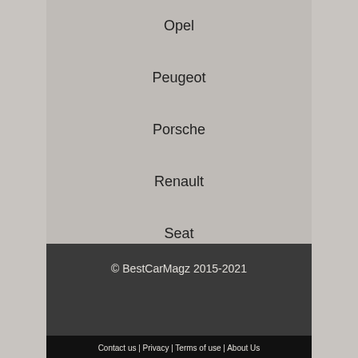Opel
Peugeot
Porsche
Renault
Seat
Skoda
© BestCarMagz 2015-2021
Contact us | Privacy | Terms of use | About Us